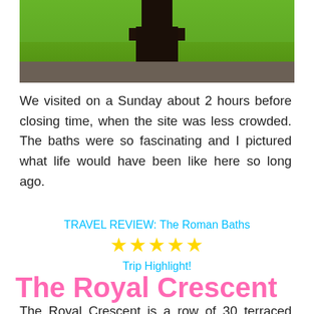[Figure (photo): Photo of the Roman Baths showing a dark stone pillar base against green-tinted water and stone flooring]
We visited on a Sunday about 2 hours before closing time, when the site was less crowded. The baths were so fascinating and I pictured what life would have been like here so long ago.
TRAVEL REVIEW: The Roman Baths
★★★★★
Trip Highlight!
The Royal Crescent
The Royal Crescent is a row of 30 terraced houses laid out in a sweeping crescent. Built